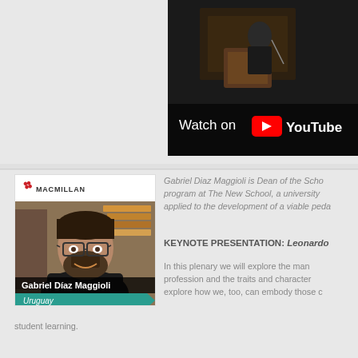[Figure (screenshot): YouTube video thumbnail showing a speaker at a podium with 'Watch on YouTube' overlay]
[Figure (photo): Profile card with Macmillan logo, photo of Gabriel Diaz Maggioli, name tag, and Uruguay country label]
Gabriel Diaz Maggioli is Dean of the School... program at The New School, a university... applied to the development of a viable peda...
KEYNOTE PRESENTATION: Leonardo...
In this plenary we will explore the man... profession and the traits and character... explore how we, too, can embody those c... student learning.